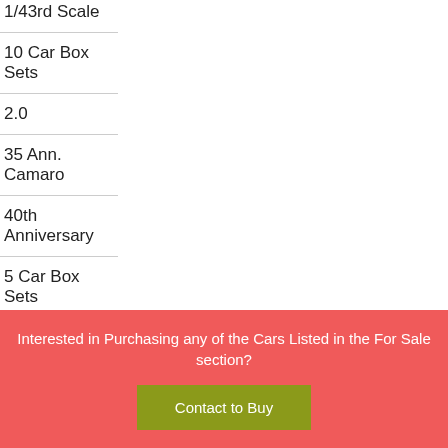1/43rd Scale
10 Car Box Sets
2.0
35 Ann. Camaro
40th Anniversary
5 Car Box Sets
50th Ann. Corvettes
60s Sizzle
Interested in Purchasing any of the Cars Listed in the For Sale section?
Contact to Buy